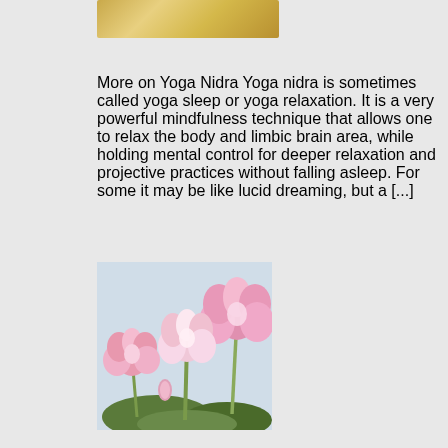[Figure (photo): Partial golden/tan colored image at the top, cropped]
More on Yoga Nidra Yoga nidra is sometimes called yoga sleep or yoga relaxation. It is a very powerful mindfulness technique that allows one to relax the body and limbic brain area, while holding mental control for deeper relaxation and projective practices without falling asleep. For some it may be like lucid dreaming, but a [...]
[Figure (photo): Photograph of pink lotus flowers with green leaves against a light blue-grey sky background]
The Lotus Sutra and Meditatin Practice The Lotus